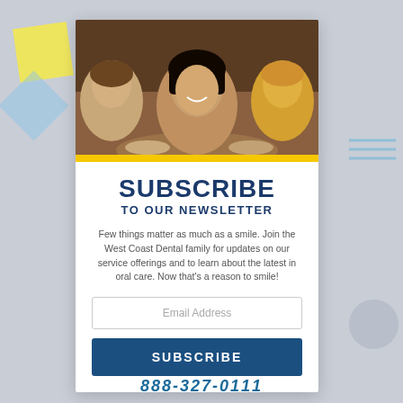[Figure (photo): Group of smiling people taking a selfie at a restaurant/dining setting. A young woman with dark hair is in the center foreground, smiling broadly. Other people are visible in the background.]
SUBSCRIBE TO OUR NEWSLETTER
Few things matter as much as a smile. Join the West Coast Dental family for updates on our service offerings and to learn about the latest in oral care. Now that's a reason to smile!
Email Address
SUBSCRIBE
888-327-0111